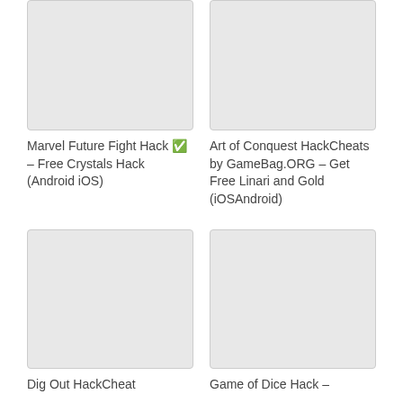[Figure (photo): Thumbnail image placeholder for Marvel Future Fight Hack]
[Figure (photo): Thumbnail image placeholder for Art of Conquest HackCheats]
Marvel Future Fight Hack ✅ – Free Crystals Hack (Android iOS)
Art of Conquest HackCheats by GameBag.ORG – Get Free Linari and Gold (iOSAndroid)
[Figure (photo): Thumbnail image placeholder for Dig Out HackCheat]
[Figure (photo): Thumbnail image placeholder for Game of Dice Hack]
Dig Out HackCheat
Game of Dice Hack –